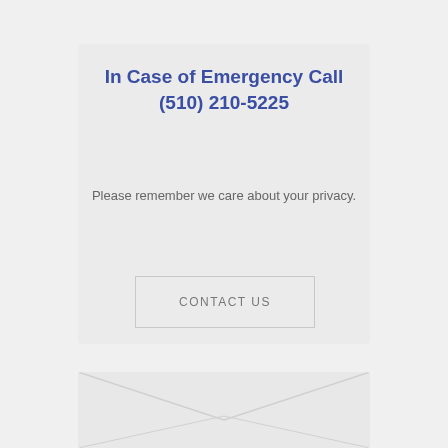In Case of Emergency Call (510) 210-5225
Please remember we care about your privacy.
CONTACT US
[Figure (illustration): Partial view of a white envelope showing the triangular flap fold lines, light gray on light gray background.]